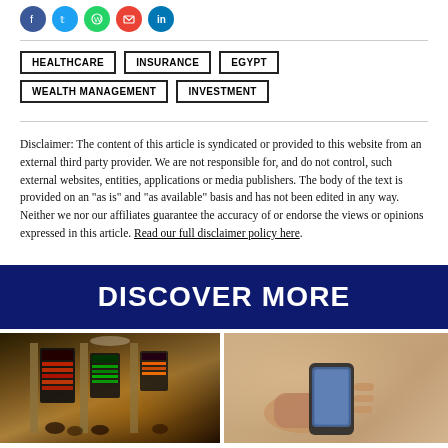[Figure (other): Social media share icons: Facebook (blue), Twitter (blue), WhatsApp (green), Email (red), LinkedIn (blue)]
HEALTHCARE
INSURANCE
EGYPT
WEALTH MANAGEMENT
INVESTMENT
Disclaimer: The content of this article is syndicated or provided to this website from an external third party provider. We are not responsible for, and do not control, such external websites, entities, applications or media publishers. The body of the text is provided on an "as is" and "as available" basis and has not been edited in any way. Neither we nor our affiliates guarantee the accuracy of or endorse the views or opinions expressed in this article. Read our full disclaimer policy here.
DISCOVER MORE
[Figure (photo): Trading floor scene with people and electronic stock ticker boards]
[Figure (photo): Person using a mobile phone, close-up shot]